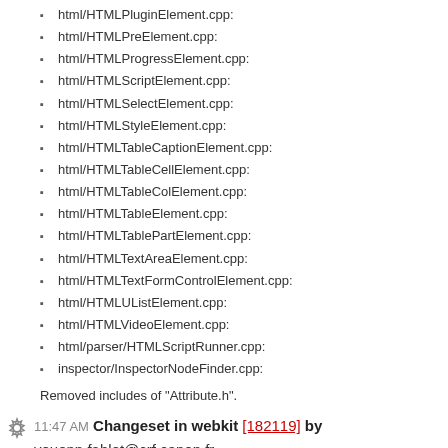html/HTMLPluginElement.cpp:
html/HTMLPreElement.cpp:
html/HTMLProgressElement.cpp:
html/HTMLScriptElement.cpp:
html/HTMLSelectElement.cpp:
html/HTMLStyleElement.cpp:
html/HTMLTableCaptionElement.cpp:
html/HTMLTableCellElement.cpp:
html/HTMLTableColElement.cpp:
html/HTMLTableElement.cpp:
html/HTMLTablePartElement.cpp:
html/HTMLTextAreaElement.cpp:
html/HTMLTextFormControlElement.cpp:
html/HTMLUListElement.cpp:
html/HTMLVideoElement.cpp:
html/parser/HTMLScriptRunner.cpp:
inspector/InspectorNodeFinder.cpp:
Removed includes of "Attribute.h".
11:47 AM Changeset in webkit [182119] by youenn.fablet@crf.canon.fr
6 edits  1 add  in trunk/Tools
[buildbot] clean-build script should remove untracked files and revert local changes too
https://bugs.webkit.org/show_bug.cgi?id=142400
Reviewed by Ryosuke Niwa.